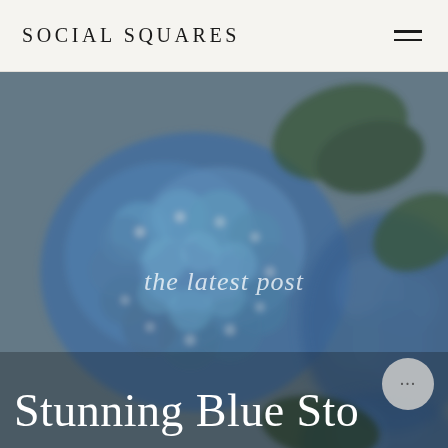SOCIAL SQUARES
[Figure (photo): Close-up photograph of blue hydrangea flowers with green leaves against a muted grey background. The flowers fill most of the frame with soft blue petals.]
the latest post
Stunning Blue Sto...